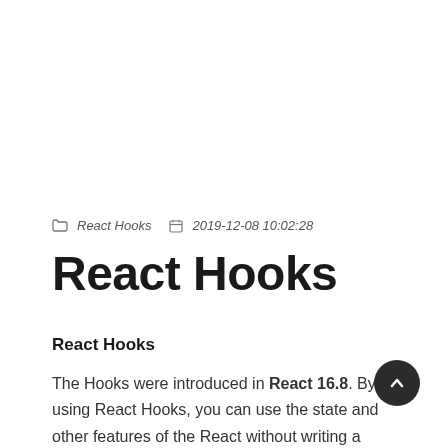React Hooks   2019-12-08 10:02:28
React Hooks
React Hooks
The Hooks were introduced in React 16.8. By using React Hooks, you can use the state and other features of the React without writing a class.